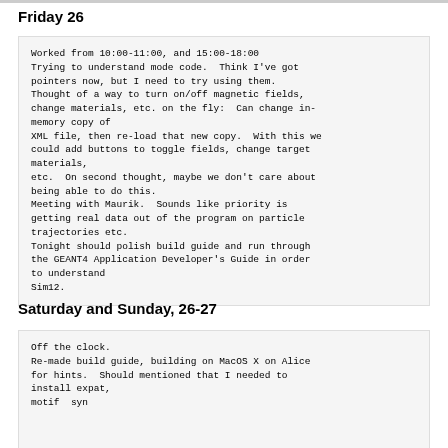Friday 26
Worked from 10:00-11:00, and 15:00-18:00
Trying to understand mode code.  Think I've got
pointers now, but I need to try using them.
Thought of a way to turn on/off magnetic fields,
change materials, etc. on the fly:  Can change in-
memory copy of
XML file, then re-load that new copy.  With this we
could add buttons to toggle fields, change target
materials,
etc.  On second thought, maybe we don't care about
being able to do this.
Meeting with Maurik.  Sounds like priority is
getting real data out of the program on particle
trajectories etc.
Tonight should polish build guide and run through
the GEANT4 Application Developer's Guide in order
to understand
Sim12.
Saturday and Sunday, 26-27
Off the clock.
Re-made build guide, building on MacOS X on Alice
for hints.  Should mentioned that I needed to
install expat,
motif  syn